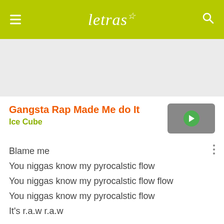letras
Gangsta Rap Made Me do It
Ice Cube
[Figure (other): Video thumbnail with green play button]
Blame me
You niggas know my pyrocalstic flow
You niggas know my pyrocalstic flow flow
You niggas know my pyrocalstic flow
It's r.a.w r.a.w